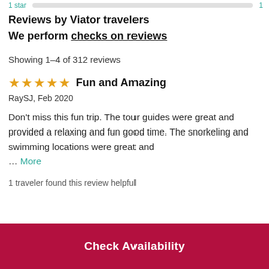1 star   1
Reviews by Viator travelers
We perform checks on reviews
Showing 1-4 of 312 reviews
★★★★★ Fun and Amazing
RaySJ, Feb 2020
Don't miss this fun trip. The tour guides were great and provided a relaxing and fun good time. The snorkeling and swimming locations were great and ... More
1 traveler found this review helpful
Check Availability